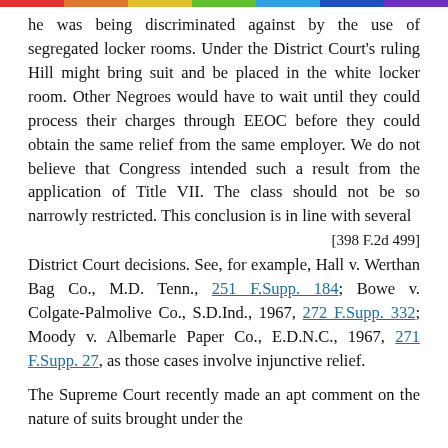he was being discriminated against by the use of segregated locker rooms. Under the District Court's ruling Hill might bring suit and be placed in the white locker room. Other Negroes would have to wait until they could process their charges through EEOC before they could obtain the same relief from the same employer. We do not believe that Congress intended such a result from the application of Title VII. The class should not be so narrowly restricted. This conclusion is in line with several
[398 F.2d 499]
District Court decisions. See, for example, Hall v. Werthan Bag Co., M.D. Tenn., 251 F.Supp. 184; Bowe v. Colgate-Palmolive Co., S.D.Ind., 1967, 272 F.Supp. 332; Moody v. Albemarle Paper Co., E.D.N.C., 1967, 271 F.Supp. 27, as those cases involve injunctive relief.
The Supreme Court recently made an apt comment on the nature of suits brought under the